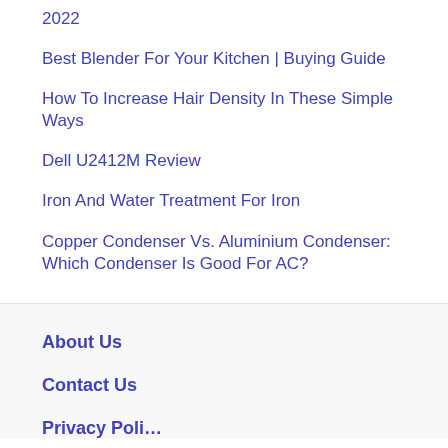2022
Best Blender For Your Kitchen | Buying Guide
How To Increase Hair Density In These Simple Ways
Dell U2412M Review
Iron And Water Treatment For Iron
Copper Condenser Vs. Aluminium Condenser: Which Condenser Is Good For AC?
About Us
Contact Us
Privacy Policy